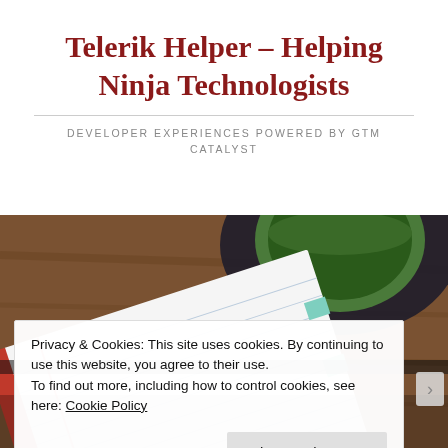Telerik Helper – Helping Ninja Technologists
DEVELOPER EXPERIENCES POWERED BY GTM CATALYST
[Figure (photo): Top-down photo of a red spiral notebook with lined pages and a green mug on a wooden table]
Privacy & Cookies: This site uses cookies. By continuing to use this website, you agree to their use.
To find out more, including how to control cookies, see here: Cookie Policy
Close and accept